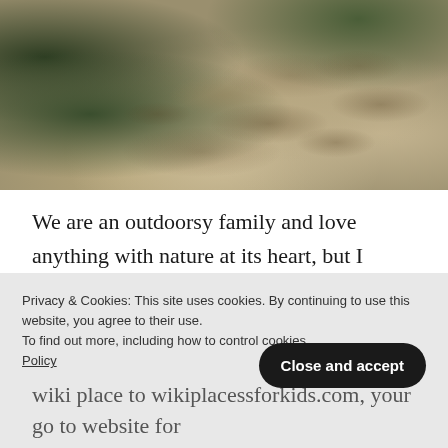[Figure (photo): A forest trail with dappled sunlight and tree shadows on a dirt path, surrounded by green foliage]
We are an outdoorsy family and love anything with nature at its heart, but I really feel like RSPB Coombes Valley have gone above and beyond to make the reserve a fun place for children while engaging them with their natural surroundings. Stanley's verdict in the car on the way home.
Privacy & Cookies: This site uses cookies. By continuing to use this website, you agree to their use.
To find out more, including how to control cookies... Policy
wiki place to wikiplacessforkids.com, your go to website for